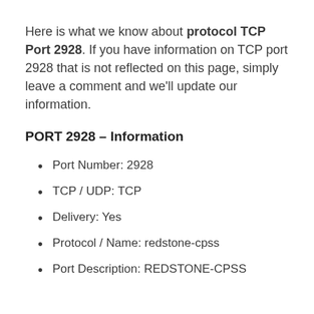Here is what we know about protocol TCP Port 2928. If you have information on TCP port 2928 that is not reflected on this page, simply leave a comment and we'll update our information.
PORT 2928 – Information
Port Number: 2928
TCP / UDP: TCP
Delivery: Yes
Protocol / Name: redstone-cpss
Port Description: REDSTONE-CPSS